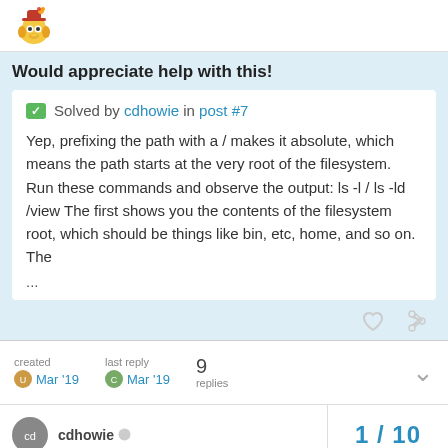[Figure (logo): Website logo — cartoon dog/robot character with colorful hat]
Would appreciate help with this!
✔ Solved by cdhowie in post #7
Yep, prefixing the path with a / makes it absolute, which means the path starts at the very root of the filesystem. Run these commands and observe the output: ls -l / ls -ld /view The first shows you the contents of the filesystem root, which should be things like bin, etc, home, and so on. The
...
created  Mar '19   last reply  Mar '19   9 replies
1 / 10
cdhowie